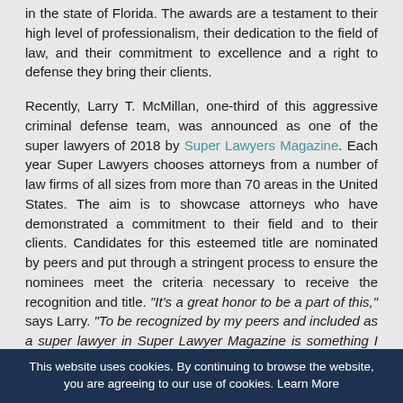in the state of Florida. The awards are a testament to their high level of professionalism, their dedication to the field of law, and their commitment to excellence and a right to defense they bring their clients.
Recently, Larry T. McMillan, one-third of this aggressive criminal defense team, was announced as one of the super lawyers of 2018 by Super Lawyers Magazine. Each year Super Lawyers chooses attorneys from a number of law firms of all sizes from more than 70 areas in the United States. The aim is to showcase attorneys who have demonstrated a commitment to their field and to their clients. Candidates for this esteemed title are nominated by peers and put through a stringent process to ensure the nominees meet the criteria necessary to receive the recognition and title. "It's a great honor to be a part of this," says Larry. "To be recognized by my peers and included as a super lawyer in Super Lawyer Magazine is something I am very proud of."
The selection and verification process for super lawyers is
This website uses cookies. By continuing to browse the website, you are agreeing to our use of cookies. Learn More